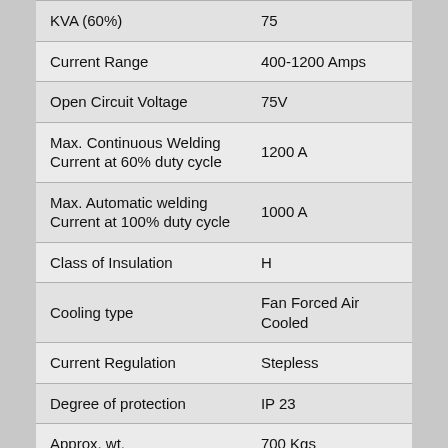| Parameter | Value |
| --- | --- |
| KVA (60%) | 75 |
| Current Range | 400-1200 Amps |
| Open Circuit Voltage | 75V |
| Max. Continuous Welding Current at 60% duty cycle | 1200 A |
| Max. Automatic welding Current at 100% duty cycle | 1000 A |
| Class of Insulation | H |
| Cooling type | Fan Forced Air Cooled |
| Current Regulation | Stepless |
| Degree of protection | IP 23 |
| Approx. wt. | 700 Kgs |
| Dimensions (L x D x H)(mm) | 1350-870-1450 |